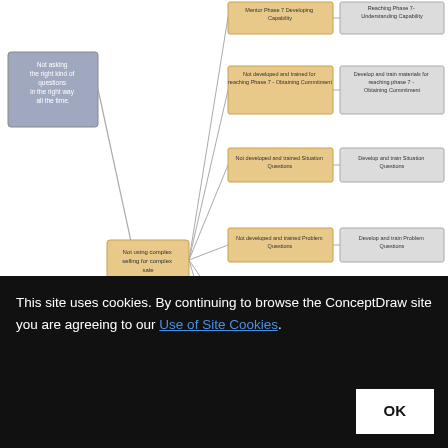[Figure (flowchart): Root Cause Analysis Tree Diagram flowchart. Left side has a blue-gray box: 'Not asking the right kind of questions in the right way all the time.' This connects to an orange box: 'Not using complex selling for complex sale.' That orange box branches into multiple orange boxes on the right (problems), each connected to a gray solution box further right. The problems and solutions include: Mentor Phase 7 Developing Capability / Develop and train materials for Reaching phase 7 - Obtaining Commitment; Not developed and trained Situation Questions / Develop and train Situation Questions; Not developed and trained Problem Questions / Develop and train Problem Questions; Not developed and trained Implication Questions / Develop and train Implication Questions; Not developed and trained Need-Payoff Questions / Develop and train Need-Payoff Questions.]
The Seven Management and Planning Tools is a tool for Root Cause Analysis Tree Diagram drawing. This diagram is for Root Cause Analysis.
This site uses cookies. By continuing to browse the ConceptDraw site you are agreeing to our Use of Site Cookies. OK